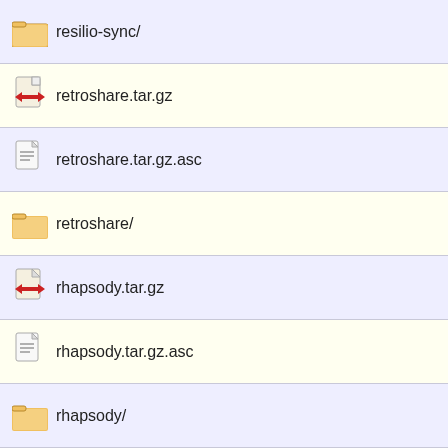resilio-sync/
retroshare.tar.gz
retroshare.tar.gz.asc
retroshare/
rhapsody.tar.gz
rhapsody.tar.gz.asc
rhapsody/
roger-router.tar.gz
roger-router.tar.gz.asc
roundcubemail.tar.gz
roundcubemail.tar.gz.asc
roundcubemail/
rspamd.tar.gz
rspamd.tar.gz.asc
rspamd/
rss2email.tar.gz